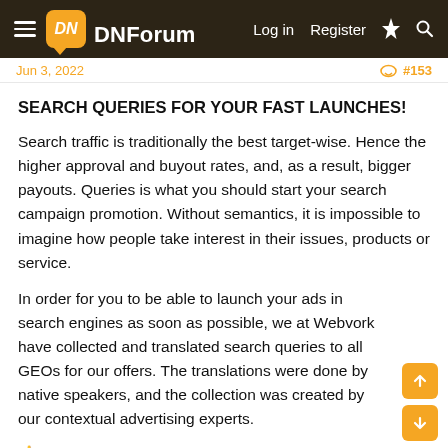DNForum — Log in | Register
Jun 3, 2022   #153
SEARCH QUERIES FOR YOUR FAST LAUNCHES!
Search traffic is traditionally the best target-wise. Hence the higher approval and buyout rates, and, as a result, bigger payouts. Queries is what you should start your search campaign promotion. Without semantics, it is impossible to imagine how people take interest in their issues, products or service.
In order for you to be able to launch your ads in search engines as soon as possible, we at Webvork have collected and translated search queries to all GEOs for our offers. The translations were done by native speakers, and the collection was created by our contextual advertising experts.
👉 You can find queries in the following resources: